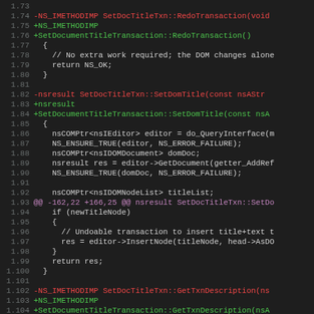[Figure (screenshot): Source code diff view showing lines 1.73 through 1.105 of a C++ file with red (removed) and green (added) lines, and a magenta diff hunk header. Dark background code editor theme.]